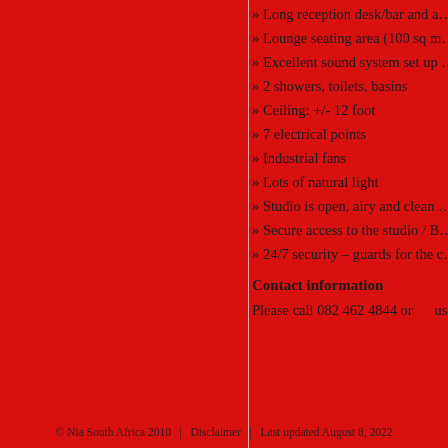» Long reception desk/bar and a…
» Lounge seating area (100 sq m…
» Excellent sound system set up …
» 2 showers, toilets, basins
» Ceiling: +/- 12 foot
» 7 electrical points
» Industrial fans
» Lots of natural light
» Studio is open, airy and clean …
» Secure access to the studio / B…
» 24/7 security – guards for the c…
Contact information
Please call 082 462 4844 or      us…
© Nia South Africa 2010   |   Disclaimer   |   Last updated August 8, 2022